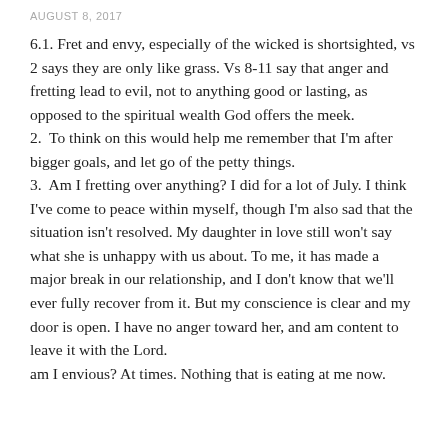AUGUST 8, 2017
6.1. Fret and envy, especially of the wicked is shortsighted, vs 2 says they are only like grass. Vs 8-11 say that anger and fretting lead to evil, not to anything good or lasting, as opposed to the spiritual wealth God offers the meek.
2.  To think on this would help me remember that I'm after bigger goals, and let go of the petty things.
3.  Am I fretting over anything? I did for a lot of July. I think I've come to peace within myself, though I'm also sad that the situation isn't resolved. My daughter in love still won't say what she is unhappy with us about. To me, it has made a major break in our relationship, and I don't know that we'll ever fully recover from it. But my conscience is clear and my door is open. I have no anger toward her, and am content to leave it with the Lord.
am I envious? At times. Nothing that is eating at me now.